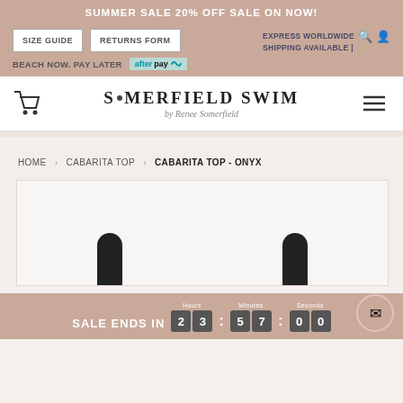SUMMER SALE 20% OFF SALE ON NOW!
SIZE GUIDE | RETURNS FORM | EXPRESS WORLDWIDE SHIPPING AVAILABLE | BEACH NOW. PAY LATER afterpay
[Figure (logo): Somerfield Swim by Renee Somerfield logo with cart icon and hamburger menu]
HOME › CABARITA TOP › CABARITA TOP - ONYX
[Figure (photo): Product photo of Cabarita Top in Onyx colorway showing black swimwear straps]
SALE ENDS IN 23 : 57 : 00 Hours Minutes Seconds